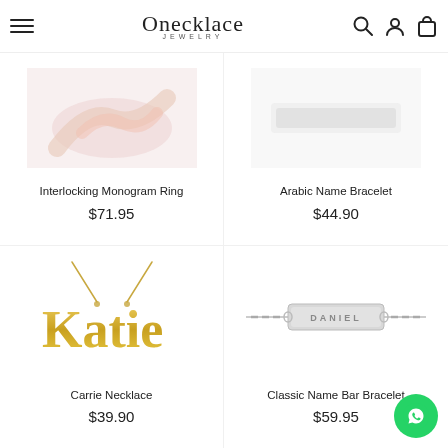Onecklace Jewelry
[Figure (photo): Product photo of Interlocking Monogram Ring (top-left, partially visible, pink/rose background)]
Interlocking Monogram Ring
$71.95
[Figure (photo): Product photo of Arabic Name Bracelet (top-right, partially visible)]
Arabic Name Bracelet
$44.90
[Figure (photo): Gold-tone Carrie-style name necklace spelling 'Katie' on white background]
Carrie Necklace
$39.90
[Figure (photo): Silver classic name bar bracelet engraved with 'DANIEL' on white background]
Classic Name Bar Bracelet
$59.95